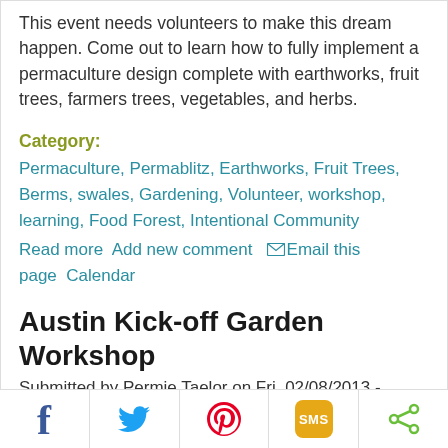This event needs volunteers to make this dream happen. Come out to learn how to fully implement a permaculture design complete with earthworks, fruit trees, farmers trees, vegetables, and herbs.
Category:
Permaculture, Permablitz, Earthworks, Fruit Trees, Berms, swales, Gardening, Volunteer, workshop, learning, Food Forest, Intentional Community
Read more  Add new comment  Email this page  Calendar
Austin Kick-off Garden Workshop
Submitted by Permie Taelor on Fri, 02/08/2013 - 10:52am
[Figure (infographic): Social sharing bar with icons: Facebook (f), Twitter (bird), Pinterest (P), SMS (SMS in orange box), Share (< icon in green)]